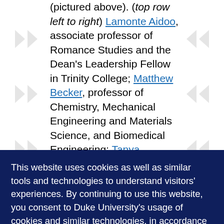(pictured above). (top row left to right) Lamonte Aidoo, associate professor of Romance Studies and the Dean's Leadership Fellow in Trinity College; Matthew Becker, professor of Chemistry, Mechanical Engineering and Materials Science, and Biomedical Engineering; Tanya Brockett, associate professor of...
This website uses cookies as well as similar tools and technologies to understand visitors' experiences. By continuing to use this website, you consent to Duke University's usage of cookies and similar technologies, in accordance with the Duke Privacy Statement.
I ACCEPT
...professor of Religious Studies; Beverly McIver, professor of the...